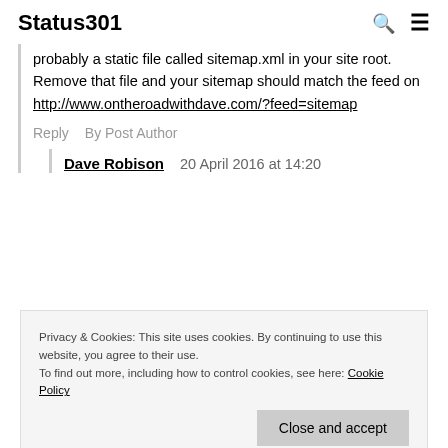Status301
probably a static file called sitemap.xml in your site root. Remove that file and your sitemap should match the feed on http://www.ontheroadwithdave.com/?feed=sitemap
Reply   By Post Author
Dave Robison   20 April 2016 at 14:20
Privacy & Cookies: This site uses cookies. By continuing to use this website, you agree to their use. To find out more, including how to control cookies, see here: Cookie Policy
Close and accept
Hey that was the issue, but I just uploaded your